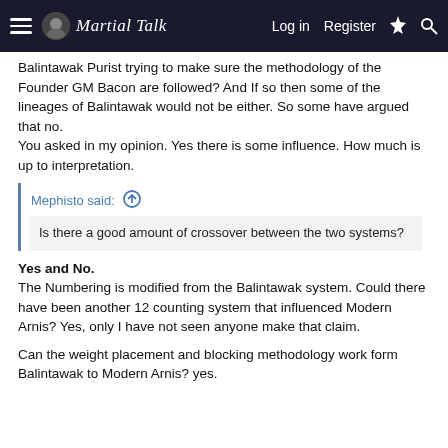Martial Talk — Log in  Register
Balintawak Purist trying to make sure the methodology of the Founder GM Bacon are followed? And If so then some of the lineages of Balintawak would not be either. So some have argued that no.
You asked in my opinion. Yes there is some influence. How much is up to interpretation.
Mephisto said: ↑
Is there a good amount of crossover between the two systems?
Yes and No.
The Numbering is modified from the Balintawak system. Could there have been another 12 counting system that influenced Modern Arnis? Yes, only I have not seen anyone make that claim.

Can the weight placement and blocking methodology work form Balintawak to Modern Arnis? yes.